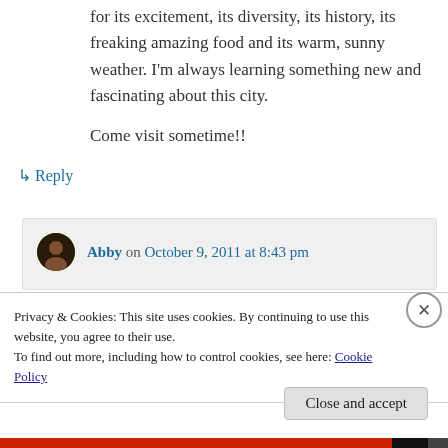for its excitement, its diversity, its history, its freaking amazing food and its warm, sunny weather. I'm always learning something new and fascinating about this city.

Come visit sometime!!
↳ Reply
Abby on October 9, 2011 at 8:43 pm
Privacy & Cookies: This site uses cookies. By continuing to use this website, you agree to their use.
To find out more, including how to control cookies, see here: Cookie Policy
Close and accept